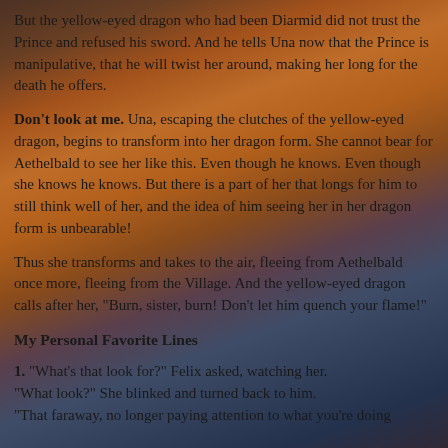But the yellow-eyed dragon who had been Diarmid did not trust the Prince and refused his sword. And he tells Una now that the Prince is manipulative, that he will twist her around, making her long for the death he offers.
Don't look at me. Una, escaping the clutches of the yellow-eyed dragon, begins to transform into her dragon form. She cannot bear for Aethelbald to see her like this. Even though he knows. Even though she knows he knows. But there is a part of her that longs for him to still think well of her, and the idea of him seeing her in her dragon form is unbearable!
Thus she transforms and takes to the air, fleeing from Aethelbald once more, fleeing from the Village. And the yellow-eyed dragon calls after her, "Burn, sister, burn! Don't let him quench your flame!"
My Personal Favorite Lines
1. "What's that look for?" Felix asked, watching her.
"What look?" She blinked and turned back to him.
"That faraway, no longer paying attention to what you're doing